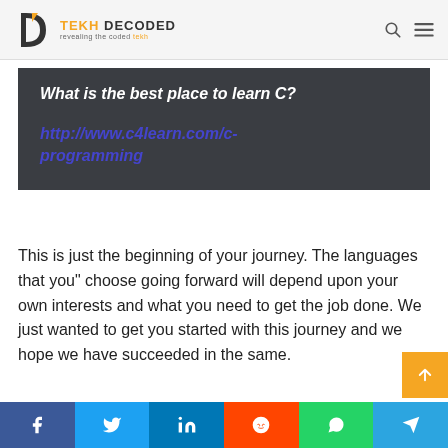TEKH DECODED — revealing the coded tekh
[Figure (screenshot): Dark grey box containing the question 'What is the best place to learn C?' and the link http://www.c4learn.com/c-programming in italic bold blue text.]
This is just the beginning of your journey. The languages that you" choose going forward will depend upon your own interests and what you need to get the job done. We just wanted to get you started with this journey and we hope we have succeeded in the same.
Share buttons: Facebook, Twitter, LinkedIn, Reddit, WhatsApp, Telegram